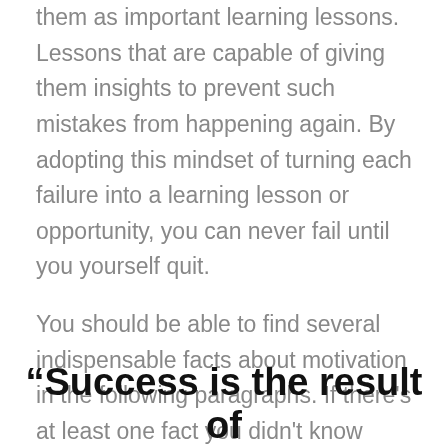them as important learning lessons. Lessons that are capable of giving them insights to prevent such mistakes from happening again. By adopting this mindset of turning each failure into a learning lesson or opportunity, you can never fail until you yourself quit.
You should be able to find several indispensable facts about motivation in the following paragraphs. If there's at least one fact you didn't know before, imagine the difference it might make. It's so difficult to go on when everything seems to fail, isn't it? Are there times in your life when you really want to call it “quits” because you just can't see any good results from all the hard work you've done?
“Success is the result of